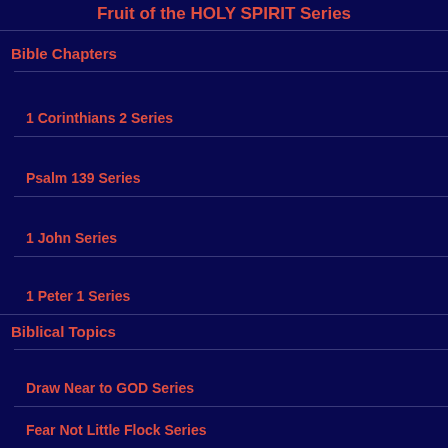Fruit of the HOLY SPIRIT Series
Bible Chapters
1 Corinthians 2 Series
Psalm 139 Series
1 John Series
1 Peter 1 Series
Biblical Topics
Draw Near to GOD Series
Fear Not Little Flock Series